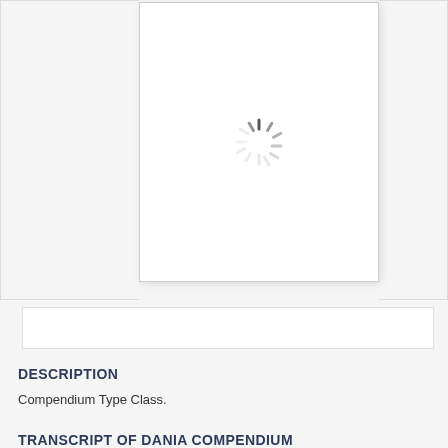[Figure (other): Document preview area showing a loading spinner in a white panel, flanked by light grey side panels with borders]
DESCRIPTION
Compendium Type Class.
TRANSCRIPT OF DANIA COMPENDIUM